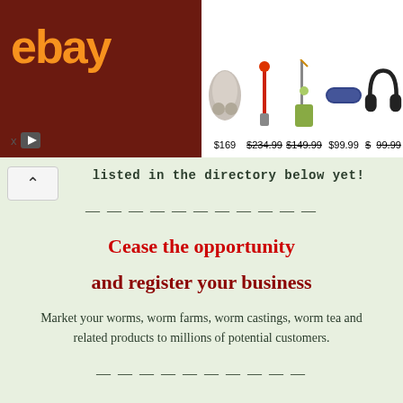[Figure (screenshot): eBay advertisement banner showing products: wireless earbuds $169, vacuum $234.99 (strikethrough), robot vacuum $149.99 (strikethrough), Bluetooth speaker $99.99, headphones $199.99 (partially visible), wireless earbuds $129.99]
listed in the directory below yet!
— — — — — — — — — — —
Cease the opportunity
and register your business
Market your worms, worm farms, worm castings, worm tea and related products to millions of potential customers.
— — — — — — — — — —